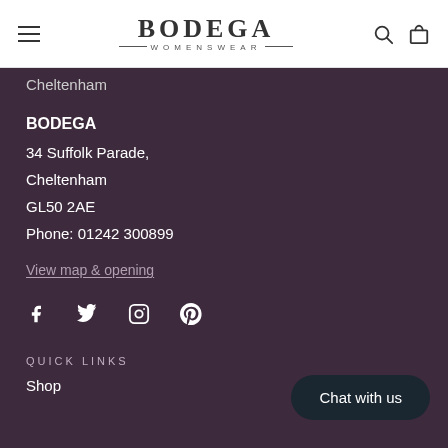BODEGA WOMENSWEAR — navigation header with hamburger menu, logo, search and bag icons
Cheltenham
BODEGA
34 Suffolk Parade,
Cheltenham
GL50 2AE
Phone: 01242 300899
View map & opening
[Figure (other): Social media icons: Facebook, Twitter, Instagram, Pinterest]
QUICK LINKS
Shop
Chat with us